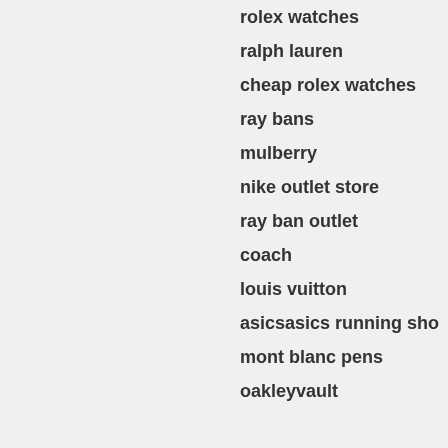rolex watches
ralph lauren
cheap rolex watches
ray bans
mulberry
nike outlet store
ray ban outlet
coach
louis vuitton
asicsasics running sho
mont blanc pens
oakleyvault